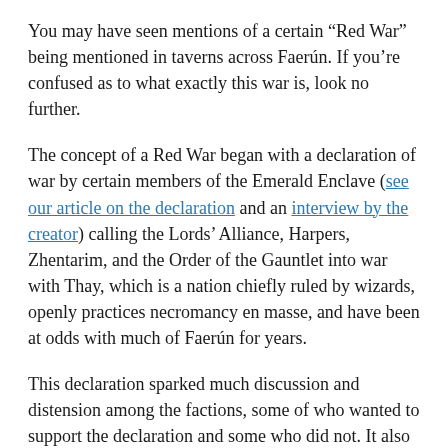You may have seen mentions of a certain “Red War” being mentioned in taverns across Faerún. If you’re confused as to what exactly this war is, look no further.
The concept of a Red War began with a declaration of war by certain members of the Emerald Enclave (see our article on the declaration and an interview by the creator) calling the Lords’ Alliance, Harpers, Zhentarim, and the Order of the Gauntlet into war with Thay, which is a nation chiefly ruled by wizards, openly practices necromancy en masse, and have been at odds with much of Faerún for years.
This declaration sparked much discussion and distension among the factions, some of who wanted to support the declaration and some who did not. It also prompted a response from Mulmaster and Thay (see their response here) where they denounced the declaration and any one who followed it.